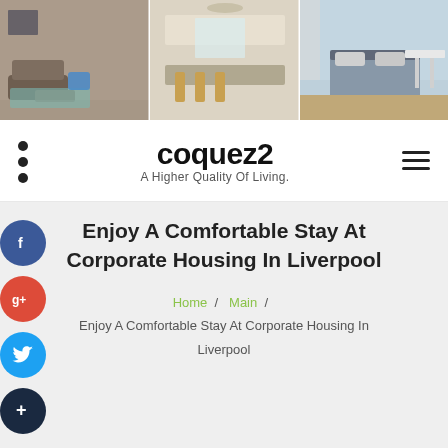[Figure (photo): Header banner with three apartment interior photos: living room, kitchen/dining area, and bedroom]
coquez2 - A Higher Quality Of Living.
Enjoy A Comfortable Stay At Corporate Housing In Liverpool
Home / Main / Enjoy A Comfortable Stay At Corporate Housing In Liverpool